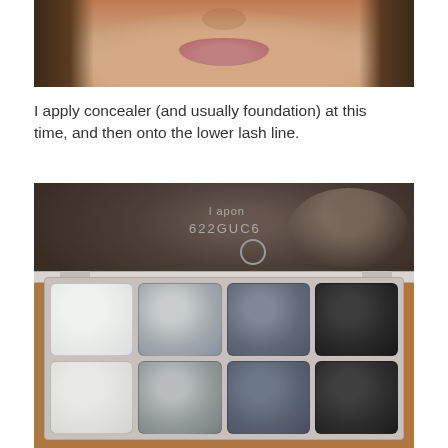[Figure (photo): Close-up photo of a woman's lower face showing lips and chin area, with brown hair visible on sides, taken against an orange-brown background]
I apply concealer (and usually foundation) at this time, and then onto the lower lash line.
[Figure (photo): Eyeshadow palette in clear plastic case with 8 pans arranged in 2 rows of 4, ranging from white to light silver to steel gray to black, with lid open showing reflection of person holding it. Text on lid reads 'upon' and '622GUC6' with a recycling symbol.]